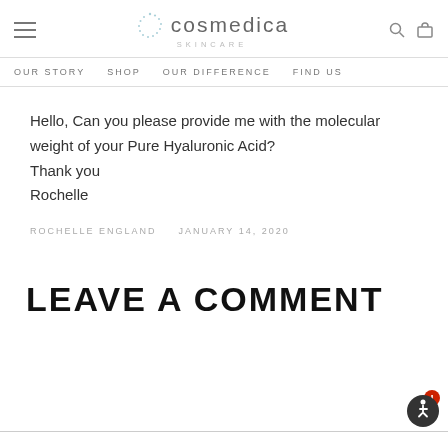cosmedica SKINCARE — navigation: OUR STORY, SHOP, OUR DIFFERENCE, FIND US
Hello, Can you please provide me with the molecular weight of your Pure Hyaluronic Acid?
Thank you
Rochelle
ROCHELLE ENGLAND   JANUARY 14, 2020
LEAVE A COMMENT